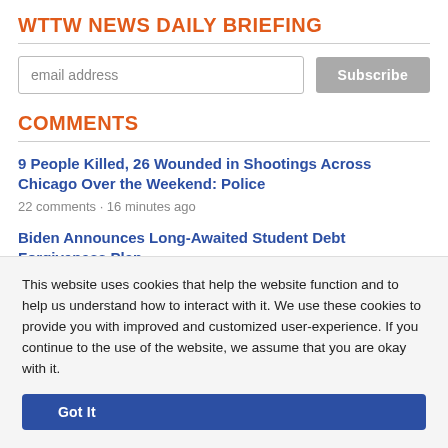WTTW NEWS DAILY BRIEFING
email address
COMMENTS
9 People Killed, 26 Wounded in Shootings Across Chicago Over the Weekend: Police
22 comments · 16 minutes ago
Biden Announces Long-Awaited Student Debt Forgiveness Plan,
This website uses cookies that help the website function and to help us understand how to interact with it. We use these cookies to provide you with improved and customized user-experience. If you continue to the use of the website, we assume that you are okay with it.
Got It